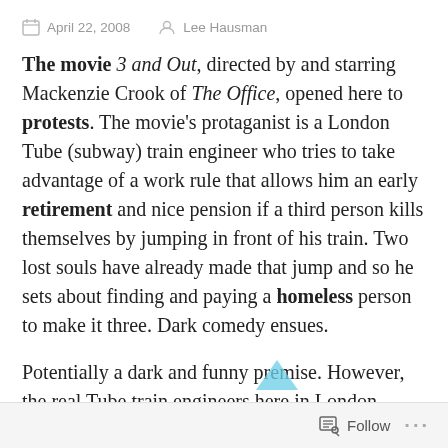April 22, 2008   Lee Hausman
The movie 3 and Out, directed by and starring Mackenzie Crook of The Office, opened here to protests. The movie's protaganist is a London Tube (subway) train engineer who tries to take advantage of a work rule that allows him an early retirement and nice pension if a third person kills themselves by jumping in front of his train. Two lost souls have already made that jump and so he sets about finding and paying a homeless person to make it three. Dark comedy ensues.
Potentially a dark and funny premise. However, the real Tube train engineers here in London don't think so. Running someone over with your train, and having a front-row seat no less, is
Follow  ...